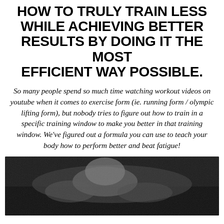HOW TO TRULY TRAIN LESS WHILE ACHIEVING BETTER RESULTS BY DOING IT THE MOST EFFICIENT WAY POSSIBLE.
So many people spend so much time watching workout videos on youtube when it comes to exercise form (ie. running form / olympic lifting form), but nobody tries to figure out how to train in a specific training window to make you better in that training window. We've figured out a formula you can use to teach your body how to perform better and beat fatigue!
[Figure (photo): Black and white photo of a person exercising or lifting weights, partially visible at bottom of page]